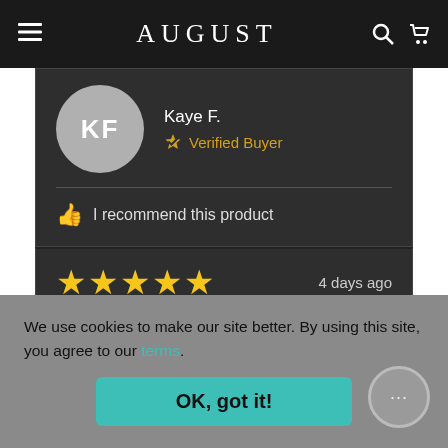AUGUST
KF — Kaye F. — Verified Buyer
I recommend this product
4 days ago — 5 STARS
We use cookies to make our site better. By using this site, you agree to our terms.
OK, got it!